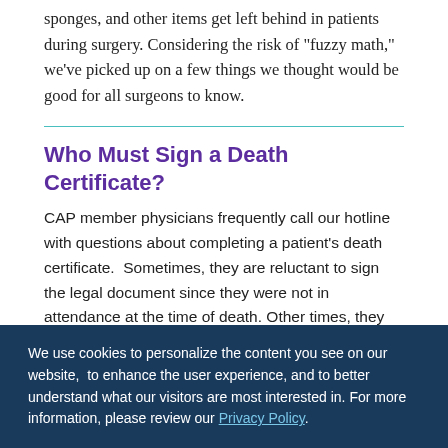sponges, and other items get left behind in patients during surgery. Considering the risk of "fuzzy math," we've picked up on a few things we thought would be good for all surgeons to know.
Who Must Sign a Death Certificate?
CAP member physicians frequently call our hotline with questions about completing a patient's death certificate.  Sometimes, they are reluctant to sign the legal document since they were not in attendance at the time of death. Other times, they inquire if their nurse practitioner or physician assistant can sign the death certificate for them.
We use cookies to personalize the content you see on our website,  to enhance the user experience, and to better understand what our visitors are most interested in. For more information, please review our Privacy Policy.